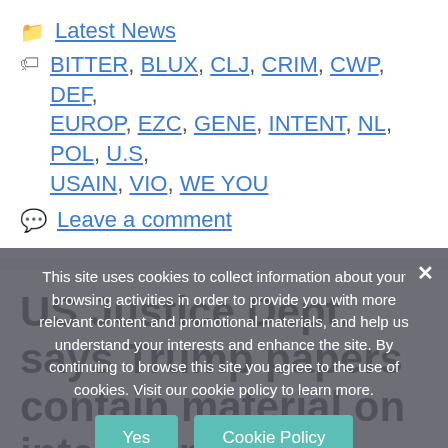Latest News
BITTER, BLUX, CLJ, CRIM, CWP, DEF, EUROP, EZC, GENE, INTENT, NL, POL, U.S, USAIN, VIO, WE YOU
Leave a comment
US Justice Dept. says Trump papers contain material on intelligence, sources
August 26, 2022 by Editorial staff
This site uses cookies to collect information about your browsing activities in order to provide you with more relevant content and promotional materials, and help us understand your interests and enhance the site. By continuing to browse this site you agree to the use of cookies. Visit our cookie policy to learn more.